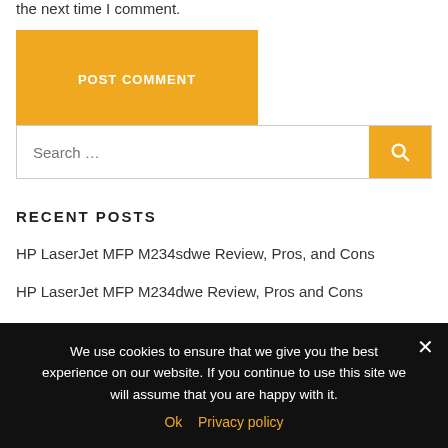the next time I comment.
POST COMMENT
[Figure (screenshot): Search bar with orange search button]
RECENT POSTS
HP LaserJet MFP M234sdwe Review, Pros, and Cons
HP LaserJet MFP M234dwe Review, Pros and Cons
HP Laserjet M209dwe Review, Pros and Cons
We use cookies to ensure that we give you the best experience on our website. If you continue to use this site we will assume that you are happy with it. Ok  Privacy policy